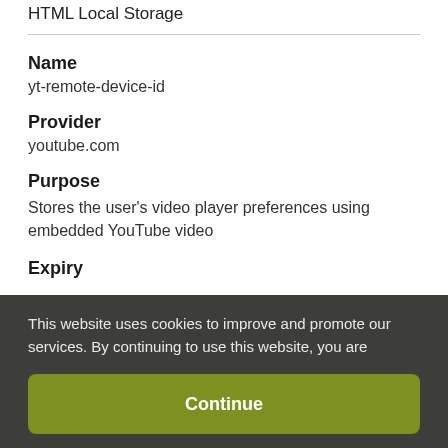HTML Local Storage
Name
yt-remote-device-id
Provider
youtube.com
Purpose
Stores the user's video player preferences using embedded YouTube video
Expiry
This website uses cookies to improve and promote our services. By continuing to use this website, you are agreeing to our Privacy Policy.
Continue